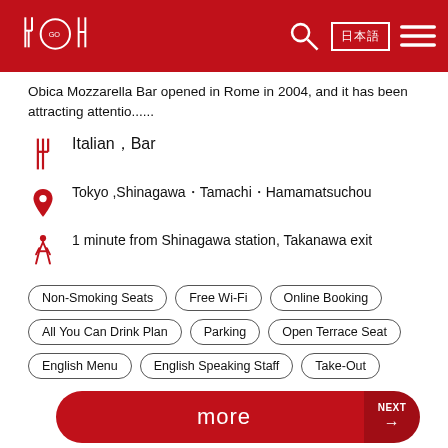Navigation bar with logo, search, language selector (日本語), and menu
Obica Mozzarella Bar opened in Rome in 2004, and it has been attracting attentio......
Italian，Bar
Tokyo ,Shinagawa・Tamachi・Hamamatsuchou
1 minute from Shinagawa station, Takanawa exit
Non-Smoking Seats  Free Wi-Fi  Online Booking  All You Can Drink Plan  Parking  Open Terrace Seat  English Menu  English Speaking Staff  Take-Out
[Figure (photo): Interior restaurant photo showing dark ceiling with decorative pendant lights and beige walls]